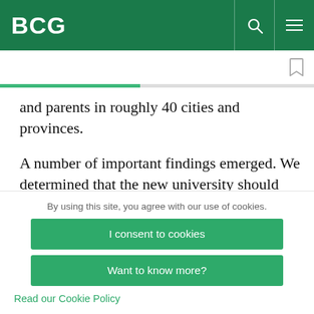BCG
and parents in roughly 40 cities and provinces.
A number of important findings emerged. We determined that the new university should offer an English-centric program with US accreditation and
By using this site, you agree with our use of cookies.
I consent to cookies
Want to know more?
Read our Cookie Policy